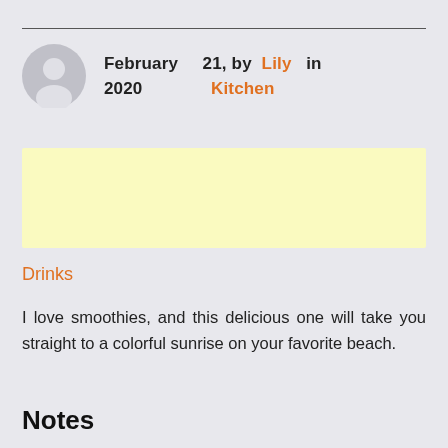February 21, 2020  by Lily  in Kitchen
[Figure (other): Yellow highlighted/banner box placeholder]
Drinks
I love smoothies, and this delicious one will take you straight to a colorful sunrise on your favorite beach.
Notes